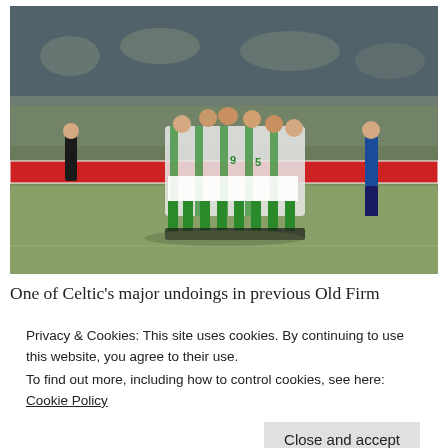[Figure (photo): A football team huddle on a pitch. Players in green and white striped Celtic jerseys huddle together in the center. A referee in black stands to the left. A player in blue (Rangers) stands to the right. A large crowd fills the stadium background. An advertising hoarding with red is visible along the pitch.]
One of Celtic's major undoings in previous Old Firm
Privacy & Cookies: This site uses cookies. By continuing to use this website, you agree to their use.
To find out more, including how to control cookies, see here: Cookie Policy
Close and accept
caught on the break by Rangers' talismanic figures like